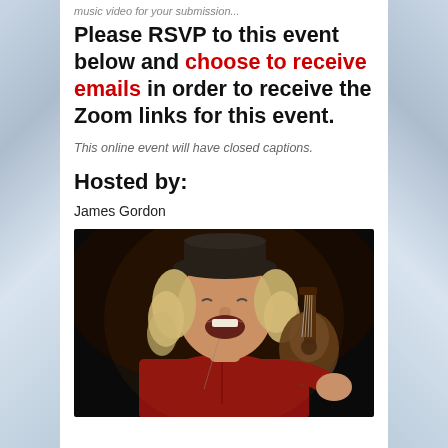music video for your submission...
Please RSVP to this event below and choose to receive emails in order to receive the Zoom links for this event.
This online event will have closed captions.
Hosted by:
James Gordon
[Figure (photo): Photo of James Gordon, a man with long curly grey-blonde hair wearing a black hat and red shirt, playing guitar and singing with his mouth open, laughing/singing expressively, against a dark background.]